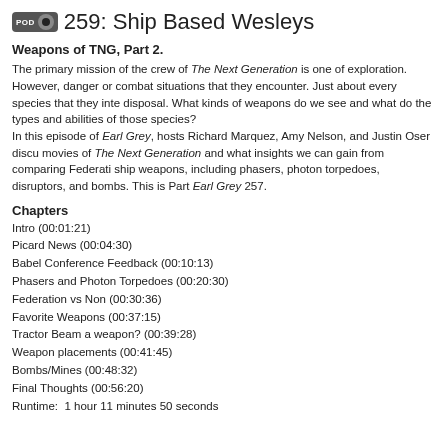259: Ship Based Wesleys
Weapons of TNG, Part 2.
The primary mission of the crew of The Next Generation is one of exploration. However, danger or combat situations that they encounter. Just about every species that they inte disposal. What kinds of weapons do we see and what do the types and abilities of those species?
In this episode of Earl Grey, hosts Richard Marquez, Amy Nelson, and Justin Oser discu movies of The Next Generation and what insights we can gain from comparing Federati ship weapons, including phasers, photon torpedoes, disruptors, and bombs. This is Part Earl Grey 257.
Chapters
Intro (00:01:21)
Picard News (00:04:30)
Babel Conference Feedback (00:10:13)
Phasers and Photon Torpedoes (00:20:30)
Federation vs Non (00:30:36)
Favorite Weapons (00:37:15)
Tractor Beam a weapon? (00:39:28)
Weapon placements (00:41:45)
Bombs/Mines (00:48:32)
Final Thoughts (00:56:20)
Runtime:  1 hour 11 minutes 50 seconds